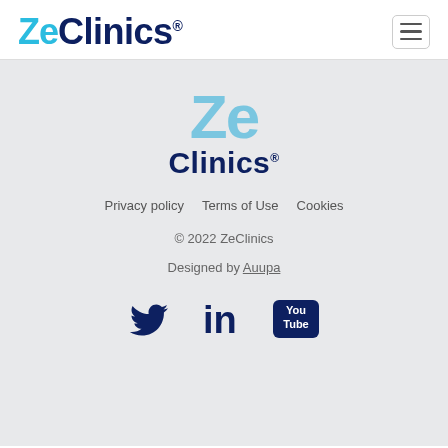[Figure (logo): ZeClinics logo in header: 'Ze' in cyan/blue, 'Clinics' in dark navy, with registered trademark symbol]
[Figure (other): Hamburger menu button (three horizontal lines) in top right corner]
[Figure (logo): ZeClinics large footer logo: 'Ze' in light blue, 'Clinics' in dark navy with registered trademark]
Privacy policy   Terms of Use   Cookies
© 2022 ZeClinics
Designed by Auupa
[Figure (other): Social media icons: Twitter bird, LinkedIn 'in', YouTube logo — all in dark navy]